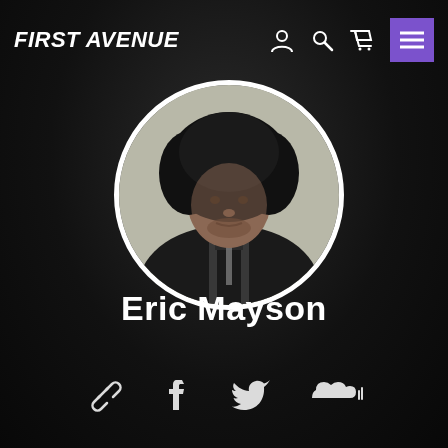FIRST AVENUE
[Figure (photo): Circular cropped portrait photo of Eric Mayson, a man with a large natural afro hairstyle, wearing a dark jacket with striped inner lining, against a light background. The circle is bordered in white. The background of the full page is very dark/black with a silhouette effect.]
Eric Mayson
[Figure (infographic): Row of four social media icons in white: link/chain icon, Facebook 'f' icon, Twitter bird icon, SoundCloud cloud icon]